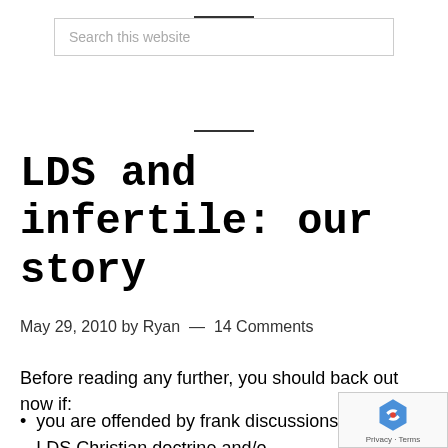Search this website
LDS and infertile: our story
May 29, 2010 by Ryan — 14 Comments
Before reading any further, you should back out now if:
you are offended by frank discussions of explicit LDS Christian doctrine and/or society